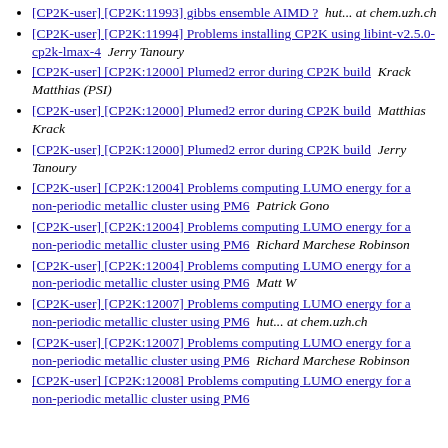[CP2K-user] [CP2K:11993] gibbs ensemble AIMD ?  hut... at chem.uzh.ch
[CP2K-user] [CP2K:11994] Problems installing CP2K using libint-v2.5.0-cp2k-lmax-4  Jerry Tanoury
[CP2K-user] [CP2K:12000] Plumed2 error during CP2K build  Krack Matthias (PSI)
[CP2K-user] [CP2K:12000] Plumed2 error during CP2K build  Matthias Krack
[CP2K-user] [CP2K:12000] Plumed2 error during CP2K build  Jerry Tanoury
[CP2K-user] [CP2K:12004] Problems computing LUMO energy for a non-periodic metallic cluster using PM6  Patrick Gono
[CP2K-user] [CP2K:12004] Problems computing LUMO energy for a non-periodic metallic cluster using PM6  Richard Marchese Robinson
[CP2K-user] [CP2K:12004] Problems computing LUMO energy for a non-periodic metallic cluster using PM6  Matt W
[CP2K-user] [CP2K:12007] Problems computing LUMO energy for a non-periodic metallic cluster using PM6  hut... at chem.uzh.ch
[CP2K-user] [CP2K:12007] Problems computing LUMO energy for a non-periodic metallic cluster using PM6  Richard Marchese Robinson
[CP2K-user] [CP2K:12008] Problems computing LUMO energy for a non-periodic metallic cluster using PM6